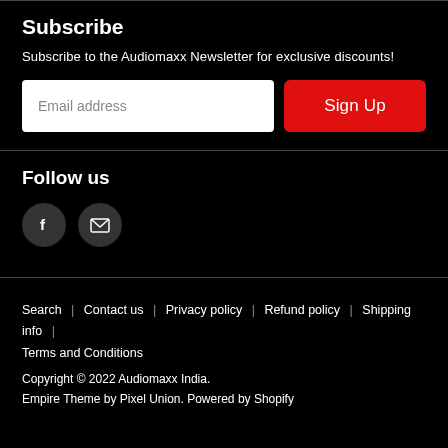Subscribe
Subscribe to the Audiomaxx Newsletter for exclusive discounts!
Email address
Sign Up
Follow us
[Figure (illustration): Facebook icon circle and Email/envelope icon circle]
Search  |  Contact us  |  Privacy policy  |  Refund policy  |  Shipping info  |  Terms and Conditions
Copyright © 2022 Audiomaxx India.
Empire Theme by Pixel Union. Powered by Shopify